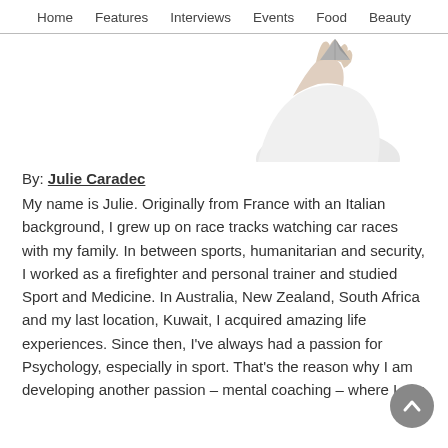Home   Features   Interviews   Events   Food   Beauty
[Figure (photo): A hand holding a small metallic triangle/pyramid shape against a white background]
By: Julie Caradec
My name is Julie. Originally from France with an Italian background, I grew up on race tracks watching car races with my family. In between sports, humanitarian and security, I worked as a firefighter and personal trainer and studied Sport and Medicine. In Australia, New Zealand, South Africa and my last location, Kuwait, I acquired amazing life experiences. Since then, I've always had a passion for Psychology, especially in sport. That's the reason why I am developing another passion – mental coaching – where I can